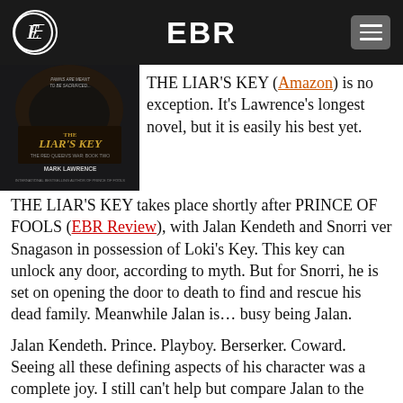EBR
[Figure (photo): Book cover of 'The Liar's Key' by Mark Lawrence, The Red Queen's War: Book Two]
THE LIAR'S KEY (Amazon) is no exception. It's Lawrence's longest novel, but it is easily his best yet.
THE LIAR'S KEY takes place shortly after PRINCE OF FOOLS (EBR Review), with Jalan Kendeth and Snorri ver Snagason in possession of Loki's Key. This key can unlock any door, according to myth. But for Snorri, he is set on opening the door to death to find and rescue his dead family. Meanwhile Jalan is… busy being Jalan.
Jalan Kendeth. Prince. Playboy. Berserker. Coward. Seeing all these defining aspects of his character was a complete joy. I still can't help but compare Jalan to the Jorg from the Broken Empire Trilogy. The contrast